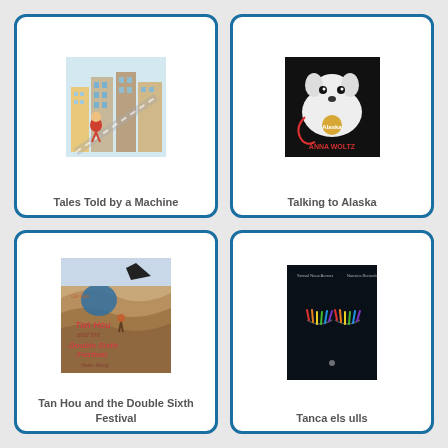[Figure (illustration): Book cover for 'Tales Told by a Machine' showing a colorful illustrated cityscape with buildings and a figure]
Tales Told by a Machine
[Figure (illustration): Book cover for 'Talking to Alaska' showing a dog (Alaska) on a dark background, by Anna Woltz]
Talking to Alaska
[Figure (illustration): Book cover for 'Tan Hou and the Double Sixth Festival' by Cai Gao and Helen Wang, showing illustrated landscape with figures]
Tan Hou and the Double Sixth Festival
[Figure (illustration): Book cover for 'Tanca els ulls' showing a dark cover with colorful eyelashes/eyes illustration]
Tanca els ulls